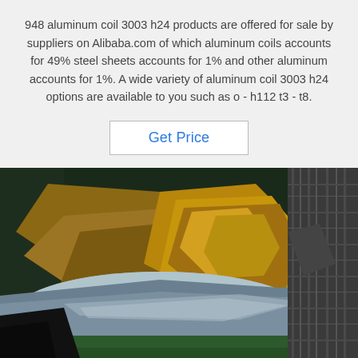948 aluminum coil 3003 h24 products are offered for sale by suppliers on Alibaba.com of which aluminum coils accounts for 49% steel sheets accounts for 1% and other aluminum accounts for 1%. A wide variety of aluminum coil 3003 h24 options are available to you such as o - h112 t3 - t8.
Get Price
[Figure (photo): Warehouse photo showing aluminum coils and sheets with brown packaging paper, a person in a dark plaid coat visible on the right side, and a blue dotted 'TOP' watermark logo in the bottom right corner.]